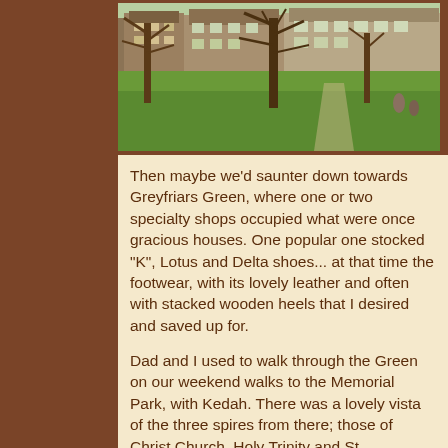[Figure (photo): Outdoor park scene with green lawn, bare trees, and houses/buildings visible in the background on a sunny day.]
Then maybe we'd saunter down towards Greyfriars Green, where one or two specialty shops occupied what were once gracious houses. One popular one stocked "K", Lotus and Delta shoes... at that time the footwear, with its lovely leather and often with stacked wooden heels that I desired and saved up for.
Dad and I used to walk through the Green on our weekend walks to the Memorial Park, with Kedah. There was a lovely vista of the three spires from there; those of Christ Church, Holy Trinity and St. Michael's. For centuries the city was famed as "The City of the Three Spires". Now, high buildings crowd the skyline.